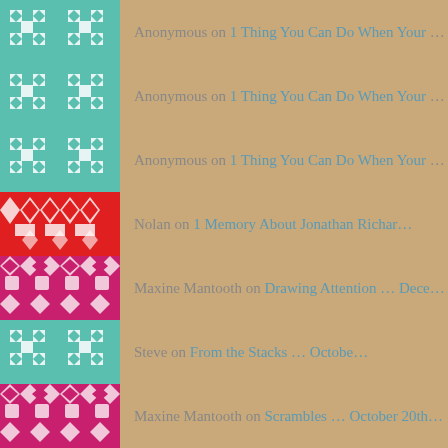Anonymous on 1 Thing You Can Do When Your F…
Anonymous on 1 Thing You Can Do When Your F…
Anonymous on 1 Thing You Can Do When Your F…
Nolan on 1 Memory About Jonathan Richar…
Maxine Mantooth on Drawing Attention … Dece…
Steve on From the Stacks … Octobe…
Maxine Mantooth on Scrambles … October 20th…
Maxine Mantooth on From the Stacks … Octobe…